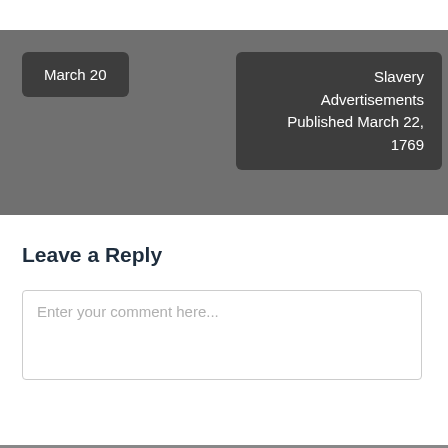March 20
Slavery Advertisements Published March 22, 1769
Leave a Reply
Enter your comment here...